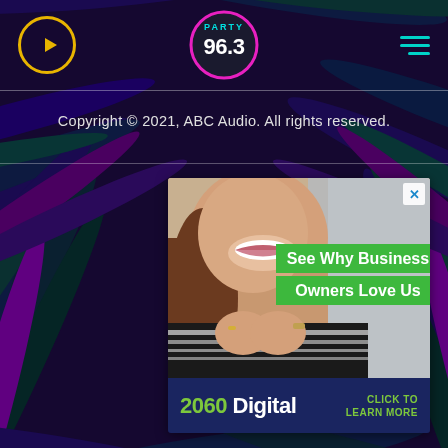[Figure (screenshot): Party 96.3 radio station website screenshot with dark purple tropical palm leaf background, navigation bar with play button, hamburger menu, and Party 96.3 logo. Contains copyright notice and an advertisement for 2060 Digital showing a woman smiling with text 'See Why Business Owners Love Us' and 'CLICK TO LEARN MORE'.]
Copyright © 2021, ABC Audio. All rights reserved.
[Figure (infographic): Advertisement for 2060 Digital showing a smiling woman making a heart shape with her hands, with green text overlays reading 'See Why Business Owners Love Us', bottom bar with '2060 Digital' branding in green/white and 'CLICK TO LEARN MORE' in green text on dark blue background.]